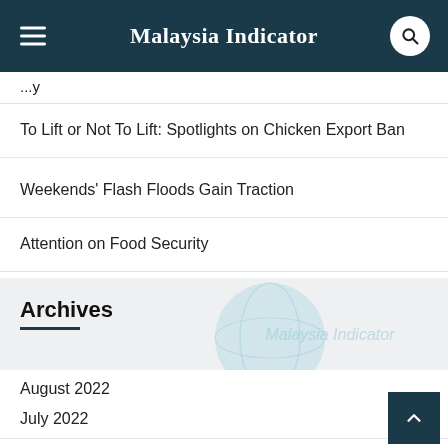Malaysia Indicator
To Lift or Not To Lift: Spotlights on Chicken Export Ban
Weekends' Flash Floods Gain Traction
Attention on Food Security
Archives
August 2022
July 2022
June 2022
April 2022
March 2022